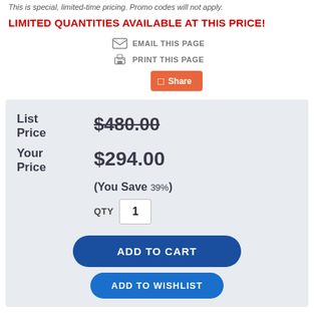This is special, limited-time pricing. Promo codes will not apply.
LIMITED QUANTITIES AVAILABLE AT THIS PRICE!
EMAIL THIS PAGE
PRINT THIS PAGE
Share
| List Price | $480.00 |
| Your Price | $294.00 |
| (You Save | 39%) |
| QTY | 1 |
ADD TO CART
ADD TO WISHLIST